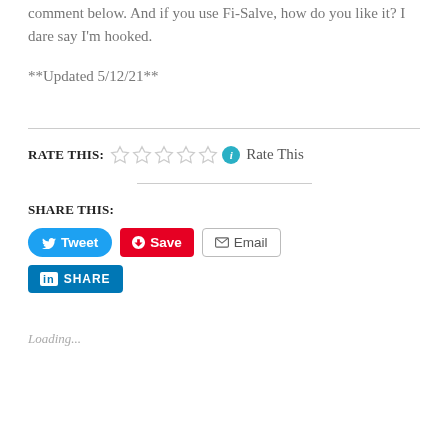comment below. And if you use Fi-Salve, how do you like it? I dare say I'm hooked.
**Updated 5/12/21**
RATE THIS: Rate This
SHARE THIS:
Tweet  Save  Email  SHARE
Loading...